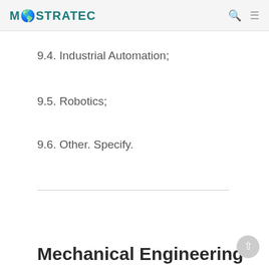MOSTRATEC
9.4. Industrial Automation;
9.5. Robotics;
9.6. Other. Specify.
Mechanical Engineering